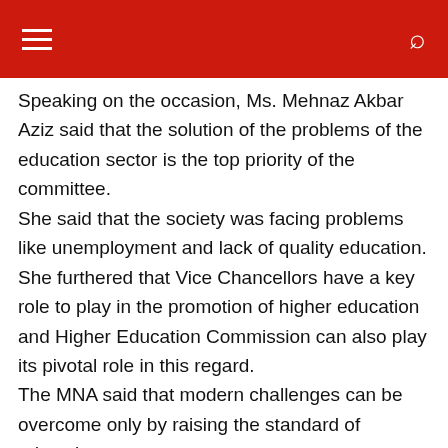Speaking on the occasion, Ms. Mehnaz Akbar Aziz said that the solution of the problems of the education sector is the top priority of the committee.
She said that the society was facing problems like unemployment and lack of quality education. She furthered that Vice Chancellors have a key role to play in the promotion of higher education and Higher Education Commission can also play its pivotal role in this regard.
The MNA said that modern challenges can be overcome only by raising the standard of education.
She opined that a separate meeting would be held to hear the problems of private and medical universities.
She vowed that the
report of this meeting would be prepared on a priority basis with full